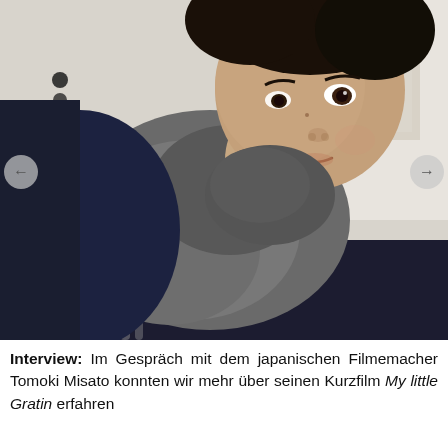[Figure (photo): Close-up photograph of a young Japanese man with dark hair wearing a dark navy coat and a gray scarf wrapped around his neck and hand resting near his face, with a slight smile. Background shows a light/white wall and part of a framed object.]
Interview: Im Gespräch mit dem japanischen Filmemacher Tomoki Misato konnten wir mehr über seinen Kurzfilm My little Gratin erfahren